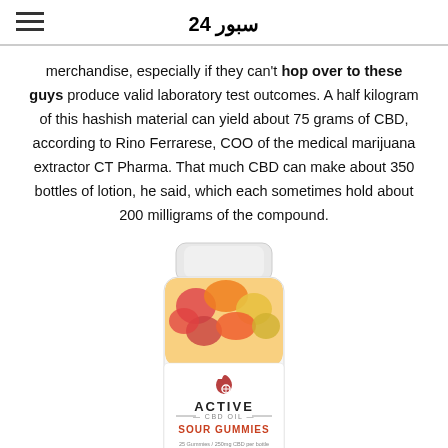سبور 24
merchandise, especially if they can't hop over to these guys produce valid laboratory test outcomes. A half kilogram of this hashish material can yield about 75 grams of CBD, according to Rino Ferrarese, COO of the medical marijuana extractor CT Pharma. That much CBD can make about 350 bottles of lotion, he said, which each sometimes hold about 200 milligrams of the compound.
[Figure (photo): A jar of Active CBD Oil Sour Gummies, 25 gummies / 250mg CBD per bottle, with colorful gummy candies visible inside the clear container.]